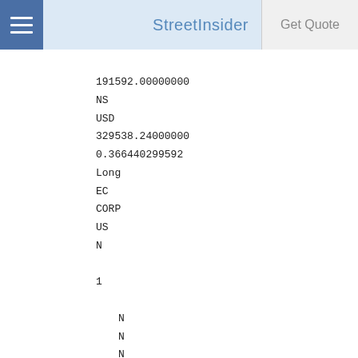StreetInsider | Get Quote
191592.00000000
NS
USD
329538.24000000
0.366440299592
Long
EC
CORP
US
N

1

   N
   N
   N